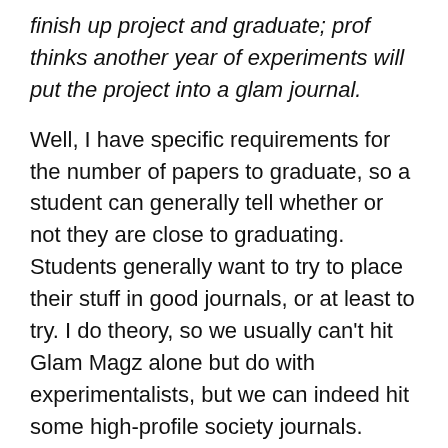finish up project and graduate; prof thinks another year of experiments will put the project into a glam journal.
Well, I have specific requirements for the number of papers to graduate, so a student can generally tell whether or not they are close to graduating. Students generally want to try to place their stuff in good journals, or at least to try. I do theory, so we usually can't hit Glam Magz alone but do with experimentalists, but we can indeed hit some high-profile society journals. Again, students at least usually want to try. There are several we usually hit (society level) and several higher up where we try if I think the work is unusually good. In the latter case, we map out together where to send next, following a potential rejection.
Here's another example from my group that's related to